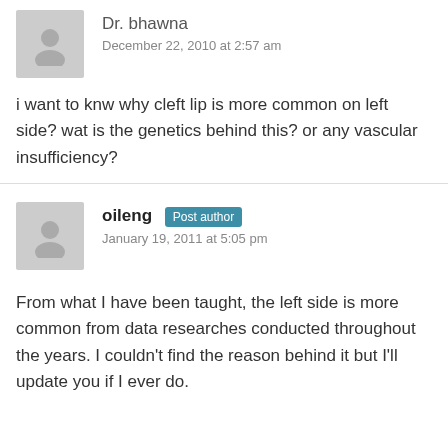Dr. bhawna
December 22, 2010 at 2:57 am
i want to knw why cleft lip is more common on left side? wat is the genetics behind this? or any vascular insufficiency?
oileng  Post author
January 19, 2011 at 5:05 pm
From what I have been taught, the left side is more common from data researches conducted throughout the years. I couldn't find the reason behind it but I'll update you if I ever do.